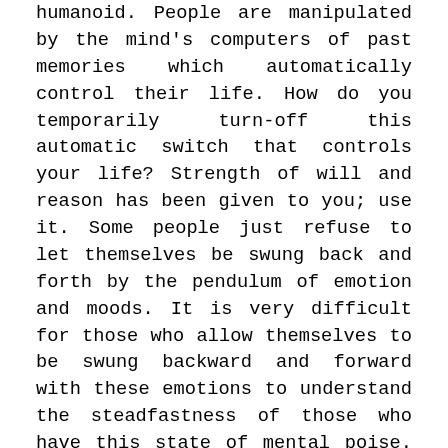humanoid. People are manipulated by the mind's computers of past memories which automatically control their life. How do you temporarily turn-off this automatic switch that controls your life? Strength of will and reason has been given to you; use it. Some people just refuse to let themselves be swung back and forth by the pendulum of emotion and moods. It is very difficult for those who allow themselves to be swung backward and forward with these emotions to understand the steadfastness of those who have this state of mental poise. You will be surprised if you put your strength of will and reason to a test; you will find out how much stronger you really are than your problems. You can smash to smithereens your obstacles and troubles.
This is why the right actions coupled with visualization techniques are so important. The